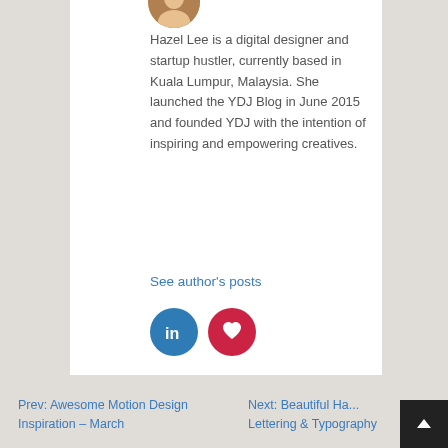[Figure (photo): Circular avatar/profile photo of Hazel Lee, partially visible at top]
Hazel Lee is a digital designer and startup hustler, currently based in Kuala Lumpur, Malaysia. She launched the YDJ Blog in June 2015 and founded YDJ with the intention of inspiring and empowering creatives.
See author's posts
[Figure (logo): LinkedIn circular icon (blue) and heart/bookmark circular icon (red)]
Prev: Awesome Motion Design Inspiration – March
Next: Beautiful Ha... Lettering & Typography